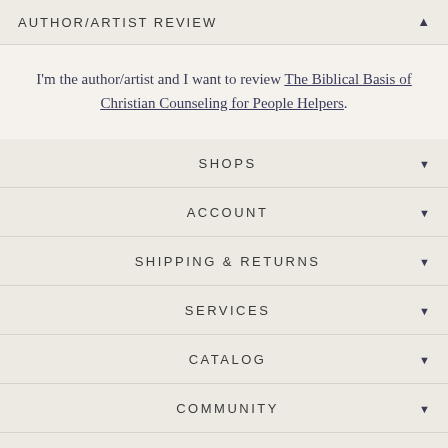AUTHOR/ARTIST REVIEW
I'm the author/artist and I want to review The Biblical Basis of Christian Counseling for People Helpers.
SHOPS
ACCOUNT
SHIPPING & RETURNS
SERVICES
CATALOG
COMMUNITY
ABOUT US